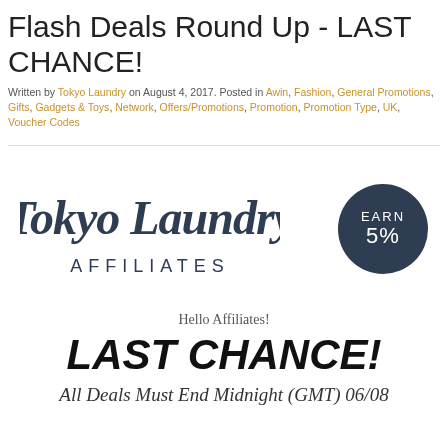Flash Deals Round Up - LAST CHANCE!
Written by Tokyo Laundry on August 4, 2017. Posted in Awin, Fashion, General Promotions, Gifts, Gadgets & Toys, Network, Offers/Promotions, Promotion, Promotion Type, UK, Voucher Codes
[Figure (logo): Tokyo Laundry Affiliates logo with script 'Tokyo Laundry' text and 'AFFILIATES' below, alongside a dark navy circle with 'EARN 5%' text]
Hello Affiliates!
LAST CHANCE!
All Deals Must End Midnight (GMT) 06/08